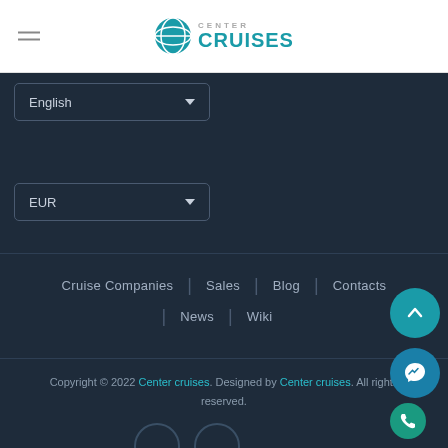[Figure (logo): Center Cruises logo with teal globe icon and text CENTER CRUISES]
English
EUR
Cruise Companies
Sales
Blog
Contacts
News
Wiki
Copyright © 2022 Center cruises. Designed by Center cruises. All rights reserved.